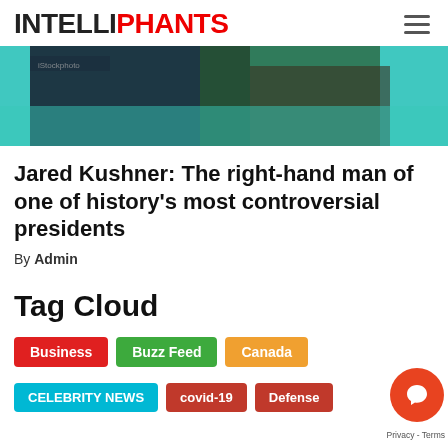INTELLIPHANTS
[Figure (photo): Cropped hero image showing a person in dark clothing near teal/green water, partially visible.]
Jared Kushner: The right-hand man of one of history's most controversial presidents
By Admin
Tag Cloud
Business
Buzz Feed
Canada
CELEBRITY NEWS
covid-19
Defense